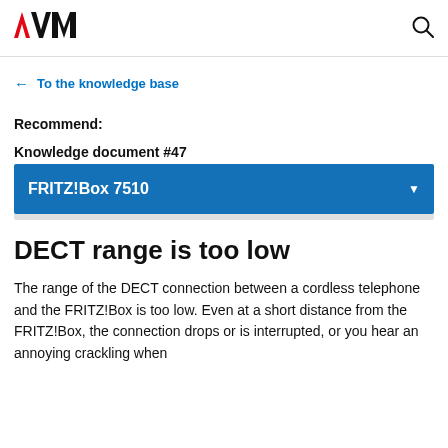AVM logo and search icon
← To the knowledge base
Recommend:
Knowledge document #47
FRITZ!Box 7510
DECT range is too low
The range of the DECT connection between a cordless telephone and the FRITZ!Box is too low. Even at a short distance from the FRITZ!Box, the connection drops or is interrupted, or you hear an annoying crackling when